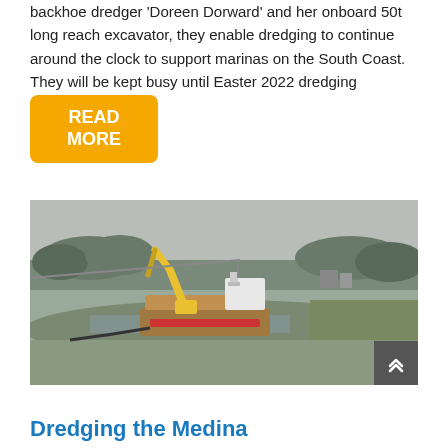backhoe dredger 'Doreen Dorward' and her onboard 50t long reach excavator, they enable dredging to continue around the clock to support marinas on the South Coast. They will be kept busy until Easter 2022 dredging Marinas!
READ MORE
[Figure (photo): A dredging vessel with a yellow long-reach excavator arm on a muddy river or estuary channel, with bare winter trees and flat landscape in background.]
Dredging the Medina